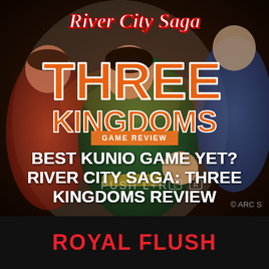[Figure (illustration): Cover art for River City Saga: Three Kingdoms showing anime-style characters in action poses. Top text reads 'River City Saga' in stylized italic script. Large orange text reads 'THREE KINGDOMS'. Bottom of image shows 'PUSH L+R' text and '© ARC S' copyright. An orange badge reads 'GAME REVIEW'. White bold title text overlaid reads 'BEST KUNIO GAME YET? RIVER CITY SAGA: THREE KINGDOMS REVIEW'.]
BEST KUNIO GAME YET? RIVER CITY SAGA: THREE KINGDOMS REVIEW
ROYAL FLUSH